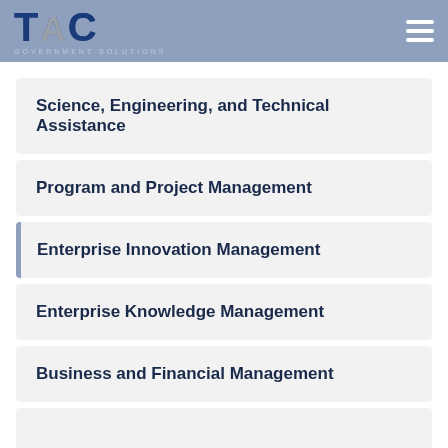TAC GOVERNMENT SOLUTIONS
Science, Engineering, and Technical Assistance
Program and Project Management
Enterprise Innovation Management
Enterprise Knowledge Management
Business and Financial Management
(partial item at bottom)